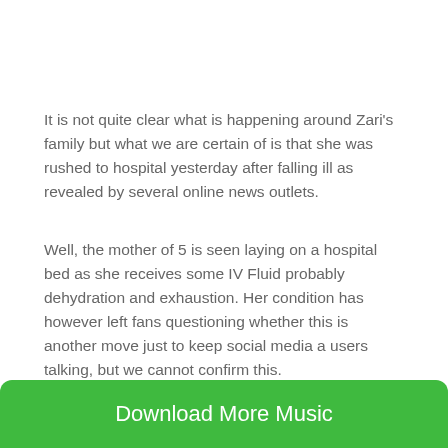It is not quite clear what is happening around Zari's family but what we are certain of is that she was rushed to hospital yesterday after falling ill as revealed by several online news outlets.
Well, the mother of 5 is seen laying on a hospital bed as she receives some IV Fluid probably dehydration and exhaustion. Her condition has however left fans questioning whether this is another move just to keep social media a users talking, but we cannot confirm this.
Download More Music